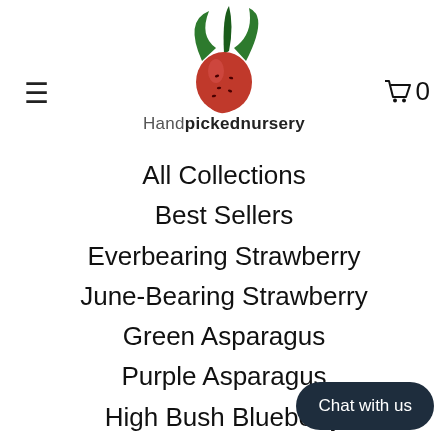[Figure (logo): Handpickednursery logo: strawberry with green leaves above, red strawberry body with seeds, and text 'Handpickednursery' below]
All Collections
Best Sellers
Everbearing Strawberry
June-Bearing Strawberry
Green Asparagus
Purple Asparagus
High Bush Blueberry
Trees
Ranunculus Bulbs
Seeds